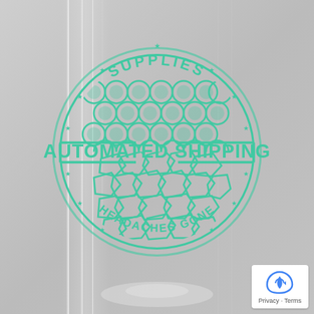[Figure (logo): Circular badge logo for 'Automated Shipping Supplies' with teal/turquoise color on gray background. Top arc reads 'SUPPLIES', bottom arc reads 'HEADACHES GONE'. Center band reads 'AUTOMATED SHIPPING' in large bold letters. Upper half of circle shows bubble wrap pattern, lower half shows packing peanuts pattern. Stars decorate around the circle.]
[Figure (logo): reCAPTCHA badge in bottom-right corner showing the recycling-style C logo with Privacy and Terms text links below.]